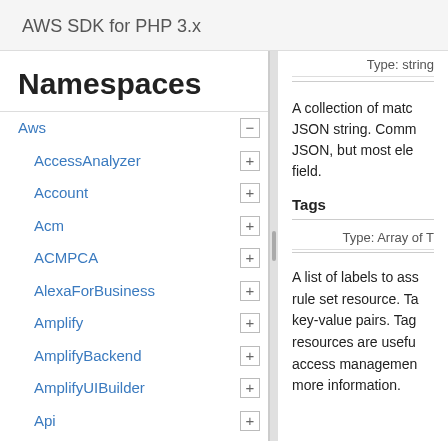AWS SDK for PHP 3.x
Namespaces
Aws
AccessAnalyzer
Account
Acm
ACMPCA
AlexaForBusiness
Amplify
AmplifyBackend
AmplifyUIBuilder
Api
ApiGateway
ApiGatewayManagementApi
Type: string
A collection of matc JSON string. Comm JSON, but most ele field.
Tags
Type: Array of T
A list of labels to ass rule set resource. Ta key-value pairs. Tag resources are usefu access managemen more information.